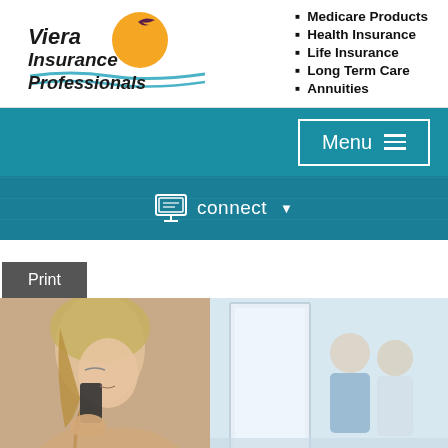[Figure (logo): Viera Insurance Professionals logo with sun and bird graphic and blue wave]
Medicare Products
Health Insurance
Life Insurance
Long Term Care
Annuities
[Figure (screenshot): Teal navigation bar with Menu button and hamburger icon]
[Figure (screenshot): Teal connect bar with monitor icon and connect dropdown]
Print
[Figure (photo): Woman talking on cell phone on left; blurred medical professionals on right]